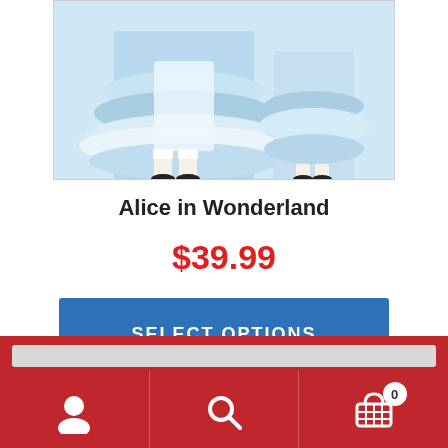[Figure (photo): Cropped photo showing Alice in Wonderland costume - light blue dress with white petticoat, model wearing white knee-high socks and black shoes]
Alice in Wonderland
$39.99
SELECT OPTIONS
[Figure (photo): Second product image showing woman wearing Alice costume headband, white top, blonde hair, smiling]
Navigation bar with user icon, search icon, and cart icon with badge showing 0